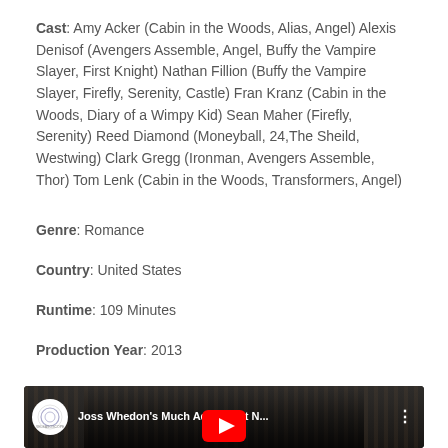Cast: Amy Acker (Cabin in the Woods, Alias, Angel) Alexis Denisof (Avengers Assemble, Angel, Buffy the Vampire Slayer, First Knight) Nathan Fillion (Buffy the Vampire Slayer, Firefly, Serenity, Castle) Fran Kranz (Cabin in the Woods, Diary of a Wimpy Kid) Sean Maher (Firefly, Serenity) Reed Diamond (Moneyball, 24,The Sheild, Westwing) Clark Gregg (Ironman, Avengers Assemble, Thor) Tom Lenk (Cabin in the Woods, Transformers, Angel)
Genre: Romance
Country: United States
Runtime: 109 Minutes
Production Year: 2013
[Figure (screenshot): YouTube video thumbnail for 'Joss Whedon's Much Ado About N...' showing a black and white scene of two people facing each other with a YouTube play button overlay and a circular channel logo on the left.]